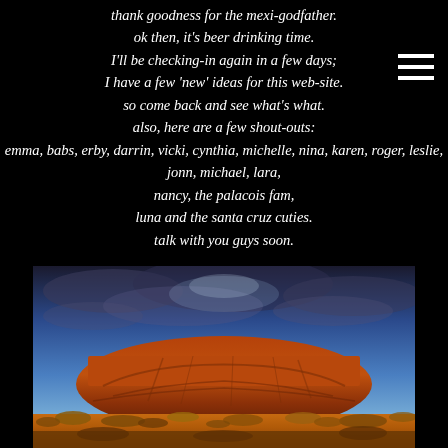thank goodness for the mexi-godfather.
ok then, it's beer drinking time.
I'll be checking-in again in a few days;
I have a few 'new' ideas for this web-site.
so come back and see what's what.
also, here are a few shout-outs:
emma, babs, erby, darrin, vicki, cynthia, michelle, nina, karen, roger, leslie,
jonn, michael, lara,
nancy, the palacois fam,
luna and the santa cruz cuties.
talk with you guys soon.

Australia 2012... done!!!

GAHOLLYWOODKISS.com
[Figure (photo): Uluru (Ayers Rock) in the Australian outback under a dramatic cloudy blue sky, with red sandstone rock formation and golden desert brush in foreground.]